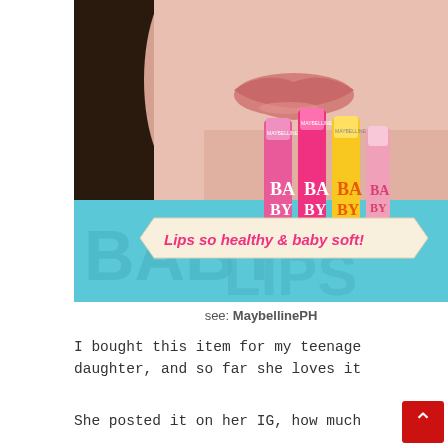[Figure (photo): Maybelline Baby Lips product advertisement showing a close-up of a woman's face with lips, and four Baby Lips lip balm sticks in front of a teal background with text 'Lips so healthy & baby soft!']
see: MaybellinePH
I bought this item for my teenage daughter, and so far she loves it
She posted it on her IG, how much